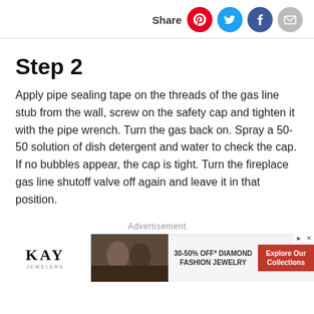Share
Step 2
Apply pipe sealing tape on the threads of the gas line stub from the wall, screw on the safety cap and tighten it with the pipe wrench. Turn the gas back on. Spray a 50-50 solution of dish detergent and water to check the cap. If no bubbles appear, the cap is tight. Turn the fireplace gas line shutoff valve off again and leave it in that position.
Advertisement
[Figure (other): Kay Jewelers advertisement banner showing a couple and text '30-50% OFF* DIAMOND FASHION JEWELRY' with 'Explore Our Collections' button]